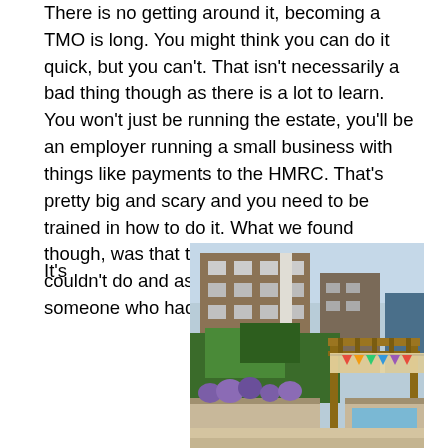There is no getting around it, becoming a TMO is long. You might think you can do it quick, but you can't. That isn't necessarily a bad thing though as there is a lot to learn. You won't just be running the estate, you'll be an employer running a small business with things like payments to the HMRC. That's pretty big and scary and you need to be trained in how to do it. What we found though, was that there wasn't anything we couldn't do and as a group we always had someone who had skills in that area.
It's
[Figure (photo): Outdoor community garden area with raised flower beds containing purple flowers, a wooden pergola structure with bunting/flags, and a residential brick building visible in the background.]